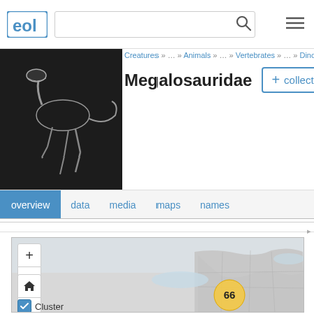EOL - Encyclopedia of Life - Megalosauridae
Creatures » … » Animals » … » Vertebrates » … » Dinosaurs And Bird
Megalosauridae
+ collect
[Figure (photo): Dinosaur skeleton exhibit photo]
overview  data  media  maps  names
[Figure (map): Interactive map showing distribution of Megalosauridae with a cluster marker showing 66 occurrences over Europe. Map controls include +, -, home, forward, back navigation buttons, and a Cluster checkbox.]